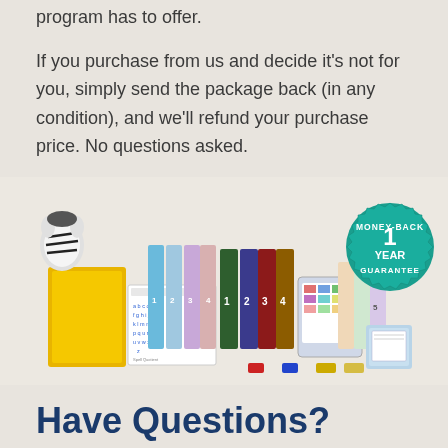program has to offer.
If you purchase from us and decide it's not for you, simply send the package back (in any condition), and we'll refund your purchase price. No questions asked.
[Figure (photo): Educational spelling program products including binders, flashcards, a tablet, a zebra mascot, colored tiles, and a teal Money-Back 1 Year Guarantee seal badge.]
Have Questions?